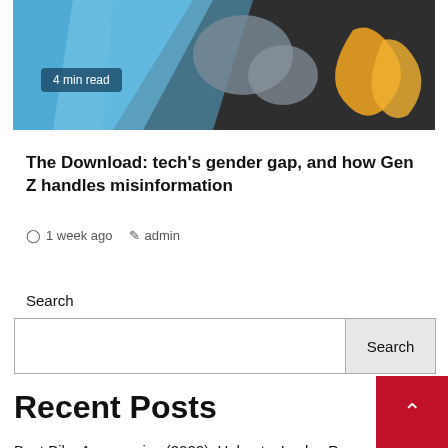[Figure (photo): Hero image with blue, dark, and orange/yellow abstract shapes; overlaid badge reading '4 min read']
The Download: tech's gender gap, and how Gen Z handles misinformation
1 week ago   admin
Search
Search input field with Search button
Recent Posts
Best Bike Accessories (2022): Helmets, Locks, Pumps, Rain Gear, and More
An Ultimate guide for creating a curated email